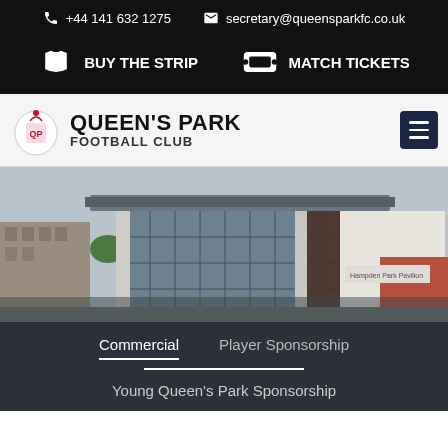+44 141 632 1275  secretary@queensparkfc.co.uk
BUY THE STRIP  MATCH TICKETS
[Figure (logo): Queen's Park Football Club logo with crest]
QUEEN'S PARK FOOTBALL CLUB
[Figure (photo): Exterior photo of a modern football stadium building with glass facade, overhanging roof, and tenement buildings in the background]
Commercial
Player Sponsorship
Young Queen's Park Sponsorship